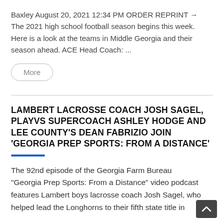Baxley August 20, 2021 12:34 PM ORDER REPRINT → The 2021 high school football season begins this week. Here is a look at the teams in Middle Georgia and their season ahead. ACE Head Coach: ...
More
LAMBERT LACROSSE COACH JOSH SAGEL, PLAYVS SUPERCOACH ASHLEY HODGE AND LEE COUNTY'S DEAN FABRIZIO JOIN 'GEORGIA PREP SPORTS: FROM A DISTANCE'
The 92nd episode of the Georgia Farm Bureau "Georgia Prep Sports: From a Distance" video podcast features Lambert boys lacrosse coach Josh Sagel, who helped lead the Longhorns to their fifth state title in